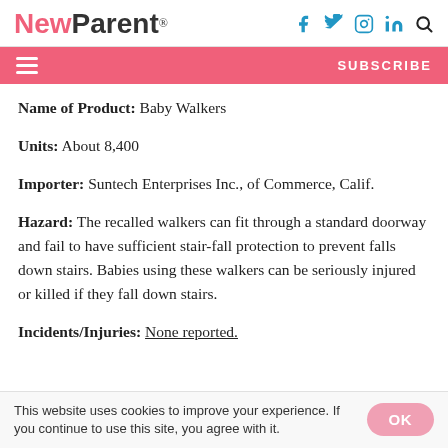NewParent® — social icons: Facebook, Twitter, Instagram, LinkedIn, Search
Name of Product: Baby Walkers
Units: About 8,400
Importer: Suntech Enterprises Inc., of Commerce, Calif.
Hazard: The recalled walkers can fit through a standard doorway and fail to have sufficient stair-fall protection to prevent falls down stairs. Babies using these walkers can be seriously injured or killed if they fall down stairs.
Incidents/Injuries: None reported.
This website uses cookies to improve your experience. If you continue to use this site, you agree with it.